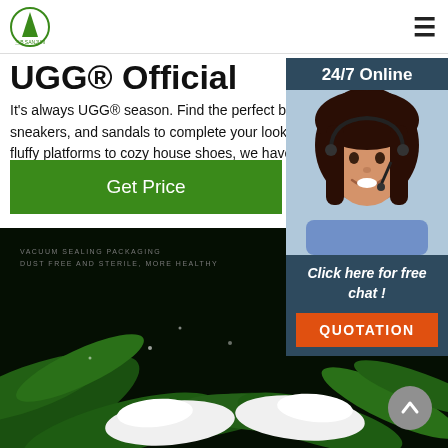UGG SANJUN logo and navigation
UGG® Official
It's always UGG® season. Find the perfect boots, slippers, sneakers, and sandals to complete your look - fr fluffy platforms to cozy house shoes, we have yo
[Figure (other): Green Get Price button]
[Figure (other): 24/7 Online chat widget with female agent wearing headset, Click here for free chat!, and QUOTATION button]
[Figure (photo): Dark background product image with green leaves and white slippers, text VACUUM SEALING PACKAGING DUST FREE AND STERILE, MORE HEALTHY]